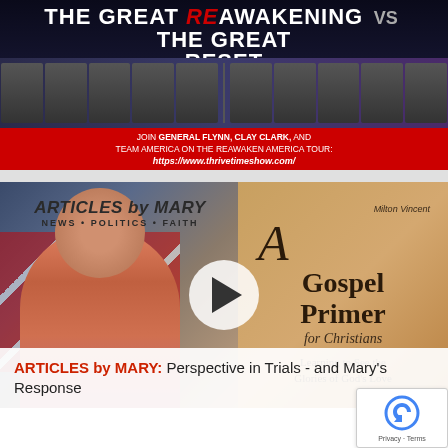[Figure (screenshot): Banner advertisement for 'The Great ReAwakening vs The Great Reset' event featuring General Flynn, Clay Clark, and Team America on the ReAwaken America Tour. URL: https://www.thrivetimeshow.com/]
[Figure (screenshot): Video thumbnail for 'Articles by Mary' (News, Politics, Faith) showing a woman in front of an American flag alongside a book cover 'A Gospel Primer for Christians - Learning to See the Glories of God's Love' by Milton Vincent. Play button overlay visible.]
ARTICLES by MARY: Perspective in Trials - and Mary's Response